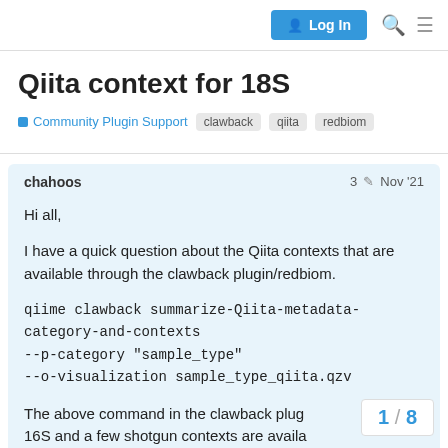Log In
Qiita context for 18S
Community Plugin Support   clawback   qiita   redbiom
chahoos   3   Nov '21
Hi all,

I have a quick question about the Qiita contexts that are available through the clawback plugin/redbiom.

qiime clawback summarize-Qiita-metadata-category-and-contexts
--p-category "sample_type"
--o-visualization sample_type_qiita.qzv

The above command in the clawback plug 16S and a few shotgun contexts are availa
1 / 8